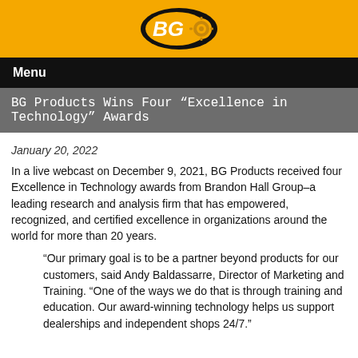[Figure (logo): BG Products logo - oval black shape with 'BG' text in white on yellow background with gear icon]
Menu
BG Products Wins Four “Excellence in Technology” Awards
January 20, 2022
In a live webcast on December 9, 2021, BG Products received four Excellence in Technology awards from Brandon Hall Group–a leading research and analysis firm that has empowered, recognized, and certified excellence in organizations around the world for more than 20 years.
“Our primary goal is to be a partner beyond products for our customers, said Andy Baldassarre, Director of Marketing and Training. “One of the ways we do that is through training and education. Our award-winning technology helps us support dealerships and independent shops 24/7.”